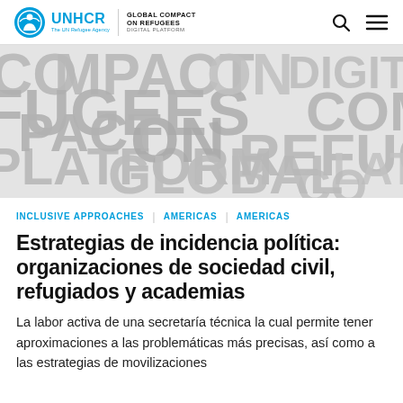UNHCR | GLOBAL COMPACT ON REFUGEES | DIGITAL PLATFORM
[Figure (photo): Banner image with large grey text showing words: COMPACT, FUGEES, ON, PLATFORM, DIGITAL, PACT, GLOBAL, COM, REFUGE, LATF — word-cloud style background banner for Global Compact on Refugees Digital Platform]
INCLUSIVE APPROACHES | AMERICAS | AMERICAS
Estrategias de incidencia política: organizaciones de sociedad civil, refugiados y academias
La labor activa de una secretaría técnica la cual permite tener aproximaciones a las problemáticas más precisas, así como a las estrategias de movilizaciones